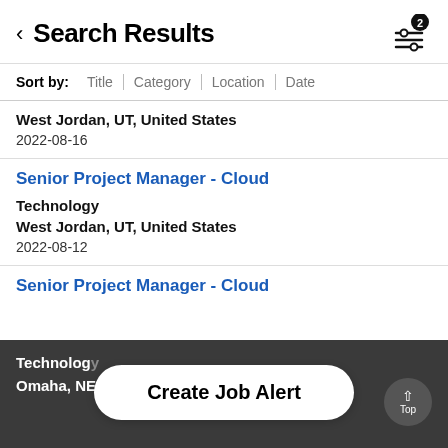Search Results
Sort by: Title | Category | Location | Date
West Jordan, UT, United States
2022-08-16
Senior Project Manager - Cloud
Technology
West Jordan, UT, United States
2022-08-12
Senior Project Manager - Cloud
Technology
Omaha, NE,
Create Job Alert